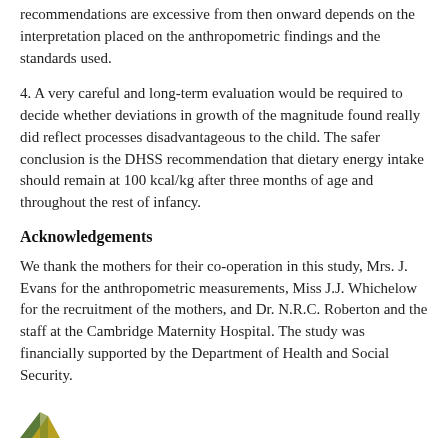recommendations are excessive from then onward depends on the interpretation placed on the anthropometric findings and the standards used.
4. A very careful and long-term evaluation would be required to decide whether deviations in growth of the magnitude found really did reflect processes disadvantageous to the child. The safer conclusion is the DHSS recommendation that dietary energy intake should remain at 100 kcal/kg after three months of age and throughout the rest of infancy.
Acknowledgements
We thank the mothers for their co-operation in this study, Mrs. J. Evans for the anthropometric measurements, Miss J.J. Whichelow for the recruitment of the mothers, and Dr. N.R.C. Roberton and the staff at the Cambridge Maternity Hospital. The study was financially supported by the Department of Health and Social Security.
[Figure (logo): Small triangular/mountain logo in green and yellow/gold tones at bottom left of page]